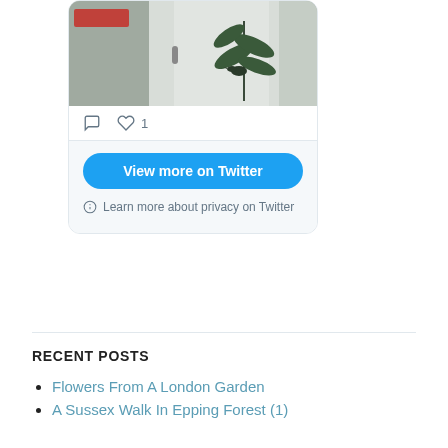[Figure (screenshot): Twitter embedded card showing a photo of a glass door with painted plant/leaf design, with comment and like (1) icons, a blue 'View more on Twitter' button, and a privacy notice.]
RECENT POSTS
Flowers From A London Garden
A Sussex Walk In Epping Forest (1)